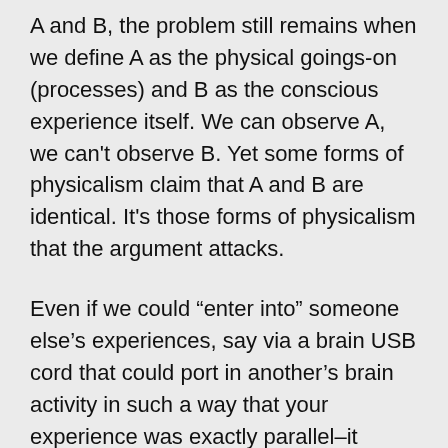A and B, the problem still remains when we define A as the physical goings-on (processes) and B as the conscious experience itself. We can observe A, we can't observe B. Yet some forms of physicalism claim that A and B are identical. It's those forms of physicalism that the argument attacks.
Even if we could “enter into” someone else’s experiences, say via a brain USB cord that could port in another’s brain activity in such a way that your experience was exactly parallel–it would still be just that: a PARALLEL experience, not THEIR experience itself. In other words, there would be two separate and distinct